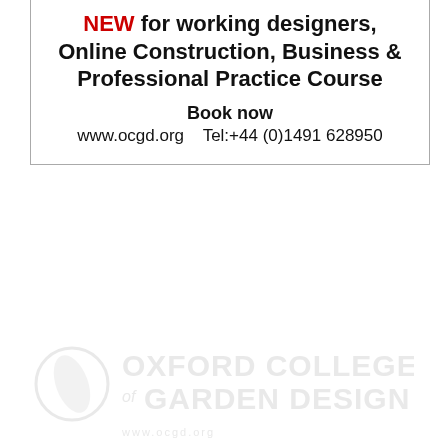NEW for working designers, Online Construction, Business & Professional Practice Course
Book now
www.ocgd.org   Tel:+44 (0)1491 628950
[Figure (logo): Oxford College of Garden Design watermark logo — light grey text and emblem]